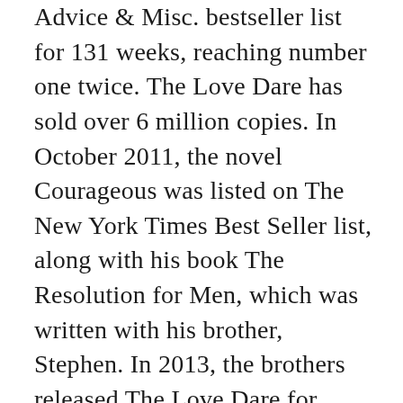Advice & Misc. bestseller list for 131 weeks, reaching number one twice. The Love Dare has sold over 6 million copies. In October 2011, the novel Courageous was listed on The New York Times Best Seller list, along with his book The Resolution for Men, which was written with his brother, Stephen. In 2013, the brothers released The Love Dare for Parents, which became a CBA Best Seller. Kendrick reached the New York Times Best Seller List again in 2015 with his most recent book, The Battle Plan for Prayer, written with his brother.